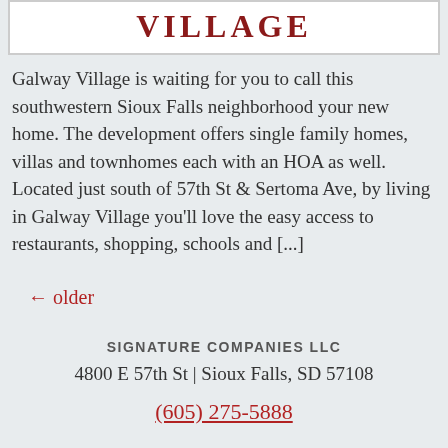VILLAGE
Galway Village is waiting for you to call this southwestern Sioux Falls neighborhood your new home. The development offers single family homes, villas and townhomes each with an HOA as well. Located just south of 57th St & Sertoma Ave, by living in Galway Village you’ll love the easy access to restaurants, shopping, schools and [...]
← older
SIGNATURE COMPANIES LLC
4800 E 57th St | Sioux Falls, SD 57108
(605) 275-5888